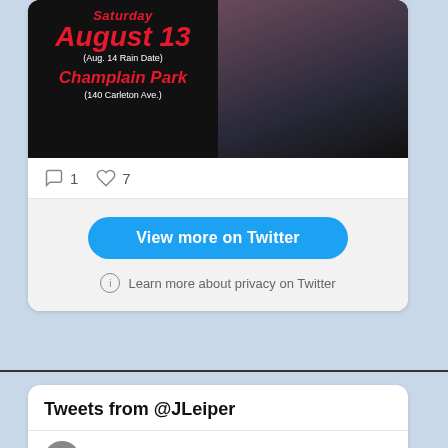[Figure (screenshot): Twitter/social media embed showing a star-gazing event poster: Saturday August 13 (Aug. 14 Rain Date) Champlain Park (140 Carleton Ave.) with dark background and photos of telescopes/people]
1   7
View more on Twitter
Learn more about privacy on Twitter
Tweets from @JLeiper